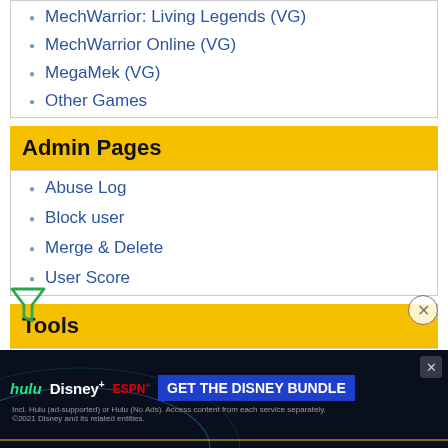MechWarrior: Living Legends (VG)
MechWarrior Online (VG)
MegaMek (VG)
Other Games
Admin Pages
Abuse Log
Block user
Merge & Delete
User Score
Tools
What links here
Related changes
Special pages
Printable version
Permanent link
Page information
[Figure (other): Disney Bundle advertisement banner (hulu, Disney+, ESPN+) with GET THE DISNEY BUNDLE CTA]